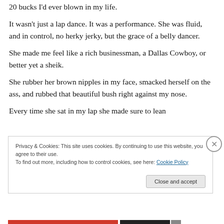20 bucks I'd ever blown in my life.
It wasn't just a lap dance. It was a performance. She was fluid, and in control, no herky jerky, but the grace of a belly dancer.
She made me feel like a rich businessman, a Dallas Cowboy, or better yet a sheik.
She rubber her brown nipples in my face, smacked herself on the ass, and rubbed that beautiful bush right against my nose.
Every time she sat in my lap she made sure to lean
Privacy & Cookies: This site uses cookies. By continuing to use this website, you agree to their use.
To find out more, including how to control cookies, see here: Cookie Policy